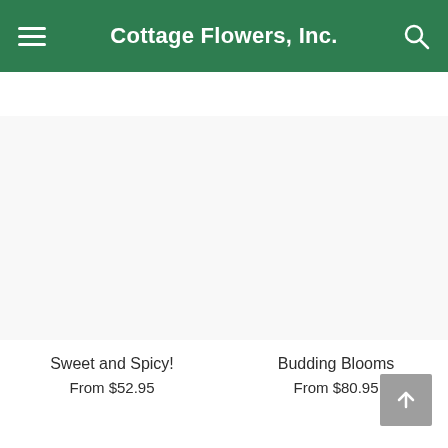Cottage Flowers, Inc.
FREE* Next Day Delivery ends in: 40:33:27
[Figure (photo): White/blank flower product image for Sweet and Spicy!]
Sweet and Spicy!
From $52.95
[Figure (photo): White/blank flower product image for Budding Blooms]
Budding Blooms
From $80.95